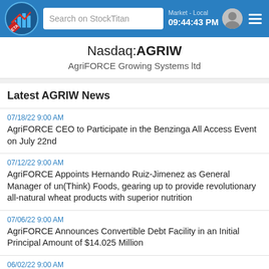Search on StockTitan | Market - Local 09:44:43 PM
Nasdaq:AGRIW
AgriFORCE Growing Systems ltd
Latest AGRIW News
07/18/22 9:00 AM
AgriFORCE CEO to Participate in the Benzinga All Access Event on July 22nd
07/12/22 9:00 AM
AgriFORCE Appoints Hernando Ruiz-Jimenez as General Manager of un(Think) Foods, gearing up to provide revolutionary all-natural wheat products with superior nutrition
07/06/22 9:00 AM
AgriFORCE Announces Convertible Debt Facility in an Initial Principal Amount of $14.025 Million
06/02/22 9:00 AM
AgriForce to Present at the Food & AgTech Conference on June 8th
05/23/22 9:00 AM